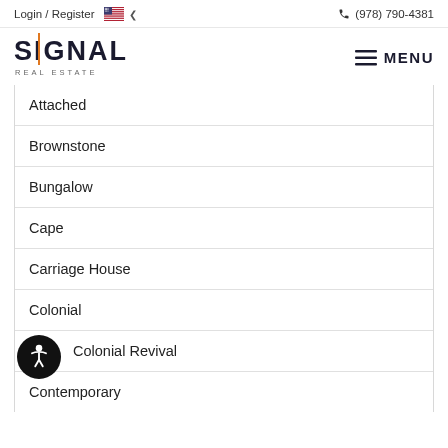Login / Register  (978) 790-4381
[Figure (logo): Signal Real Estate logo with orange accent on letter I]
Attached
Brownstone
Bungalow
Cape
Carriage House
Colonial
Colonial Revival
Contemporary